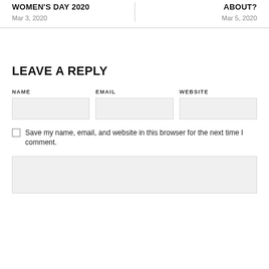WOMEN'S DAY 2020
Mar 3, 2020
ABOUT?
Mar 5, 2020
LEAVE A REPLY
NAME
EMAIL
WEBSITE
Save my name, email, and website in this browser for the next time I comment.